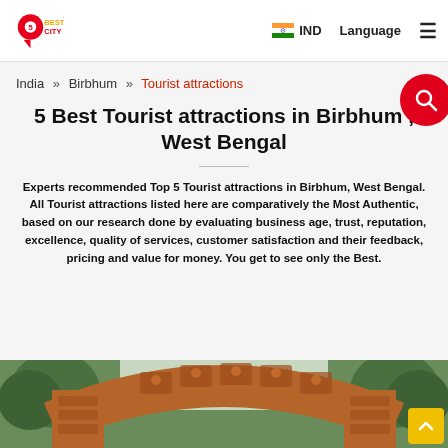5BestCity logo | IND | Language | Menu
India » Birbhum » Tourist attractions
5 Best Tourist attractions in Birbhum , West Bengal
Experts recommended Top 5 Tourist attractions in Birbhum, West Bengal. All Tourist attractions listed here are comparatively the Most Authentic, based on our research done by evaluating business age, trust, reputation, excellence, quality of services, customer satisfaction and their feedback, pricing and value for money. You get to see only the Best.
[Figure (photo): Terracotta arch gateway with floral and decorative carvings, surrounded by green trees — a tourist attraction in Birbhum, West Bengal]